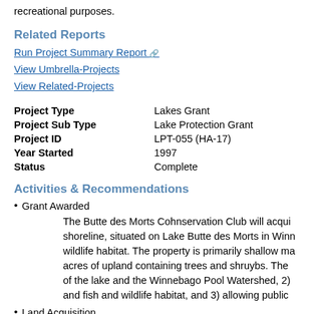recreational purposes.
Related Reports
Run Project Summary Report
View Umbrella-Projects
View Related-Projects
| Project Type | Lakes Grant |
| Project Sub Type | Lake Protection Grant |
| Project ID | LPT-055 (HA-17) |
| Year Started | 1997 |
| Status | Complete |
Activities & Recommendations
Grant Awarded
The Butte des Morts Cohnservation Club will acqui... shoreline, situated on Lake Butte des Morts in Winn... wildlife habitat. The property is primarily shallow ma... acres of upland containing trees and shruybs. The... of the lake and the Winnebago Pool Watershed, 2) and fish and wildlife habitat, and 3) allowing public
Land Acquisition
10100749
Land Acquisition